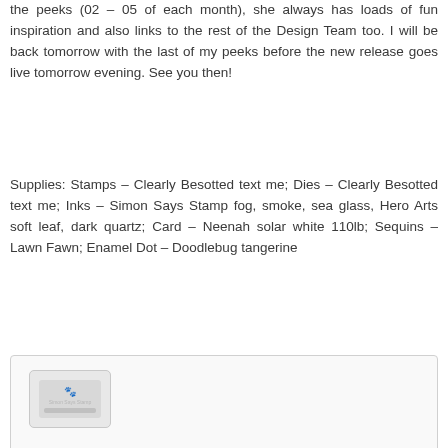the peeks (02 – 05 of each month), she always has loads of fun inspiration and also links to the rest of the Design Team too. I will be back tomorrow with the last of my peeks before the new release goes live tomorrow evening. See you then!
Supplies: Stamps – Clearly Besotted text me; Dies – Clearly Besotted text me; Inks – Simon Says Stamp fog, smoke, sea glass, Hero Arts soft leaf, dark quartz; Card – Neenah solar white 110lb; Sequins – Lawn Fawn; Enamel Dot – Doodlebug tangerine
[Figure (photo): A photograph or image area with a light gray background showing an ink pad product (Simon Says Stamp brand) with paw print logo, positioned in the upper left of the image box.]